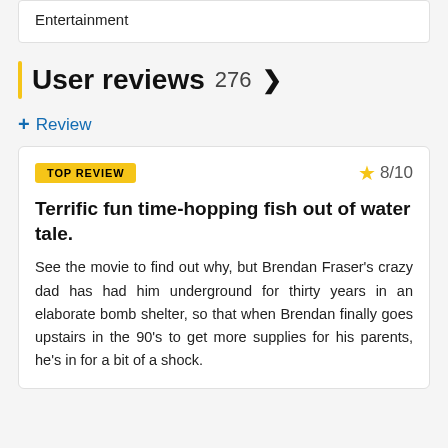Entertainment
User reviews 276 >
+ Review
Terrific fun time-hopping fish out of water tale.
See the movie to find out why, but Brendan Fraser's crazy dad has had him underground for thirty years in an elaborate bomb shelter, so that when Brendan finally goes upstairs in the 90's to get more supplies for his parents, he's in for a bit of a shock.